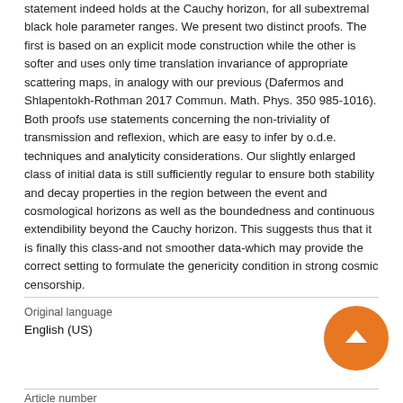statement indeed holds at the Cauchy horizon, for all subextremal black hole parameter ranges. We present two distinct proofs. The first is based on an explicit mode construction while the other is softer and uses only time translation invariance of appropriate scattering maps, in analogy with our previous (Dafermos and Shlapentokh-Rothman 2017 Commun. Math. Phys. 350 985-1016). Both proofs use statements concerning the non-triviality of transmission and reflexion, which are easy to infer by o.d.e. techniques and analyticity considerations. Our slightly enlarged class of initial data is still sufficiently regular to ensure both stability and decay properties in the region between the event and cosmological horizons as well as the boundedness and continuous extendibility beyond the Cauchy horizon. This suggests thus that it is finally this class-and not smoother data-which may provide the correct setting to formulate the genericity condition in strong cosmic censorship.
Original language
English (US)
Article number